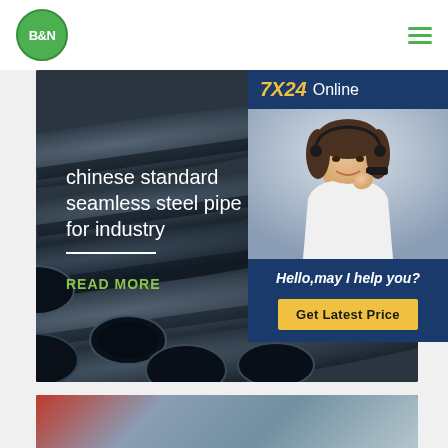[Figure (logo): B&N company logo — green circle with white B&N text]
[Figure (screenshot): Hamburger menu icon with three green horizontal lines]
[Figure (photo): Hero image of dark industrial steel pipes stacked diagonally with overlay text]
chinese standard seamless steel pipe for industry
READ MORE
[Figure (infographic): 7X24 Online customer support panel with woman wearing headset. Shows 'Hello,may I help you?' and Get Latest Price button.]
[Figure (photo): Bottom image of industrial steel pipe storage yard with crane and stacked pipes]